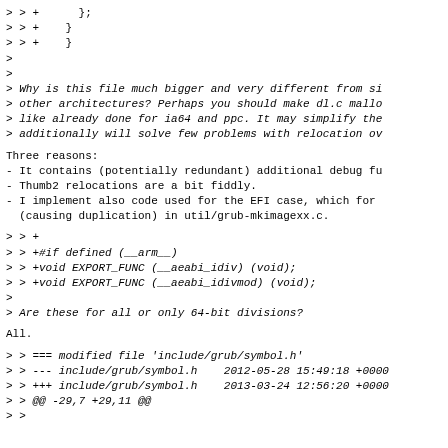> > +        };
> > +    }
> > +    }
>
>
> Why is this file much bigger and very different from si
> other architectures? Perhaps you should make dl.c mallo
> like already done for ia64 and ppc. It may simplify the
> additionally will solve few problems with relocation ov
Three reasons:
- It contains (potentially redundant) additional debug fu
- Thumb2 relocations are a bit fiddly.
- I implement also code used for the EFI case, which for
  (causing duplication) in util/grub-mkimagexx.c.
> > +
> > +#if defined (__arm__)
> > +void EXPORT_FUNC (__aeabi_idiv) (void);
> > +void EXPORT_FUNC (__aeabi_idivmod) (void);
>
> Are these for all or only 64-bit divisions?
All.
> > === modified file 'include/grub/symbol.h'
> > --- include/grub/symbol.h    2012-05-28 15:49:18 +0000
> > +++ include/grub/symbol.h    2013-03-24 12:56:20 +0000
> > @@ -29,7 +29,11 @@
> >